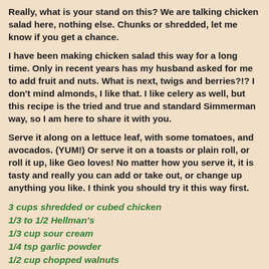Really, what is your stand on this?  We are talking chicken salad here, nothing else.  Chunks or shredded, let me know if you get a chance.
I have been making chicken salad this way for a long time.  Only in recent years has my husband asked for me to add fruit and nuts.  What is next, twigs and berries?!?   I don't mind almonds, I like that.  I like celery as well, but this recipe is the tried and true and standard Simmerman way, so I am here to share it with you.
Serve it along on a lettuce leaf, with some tomatoes, and avocados. (YUM!) Or serve it on a toasts or plain roll, or roll it up, like Geo loves!  No matter how you serve it, it is tasty and really you can add or take out, or change up anything you like.  I think you should try it this way first.
3 cups shredded or cubed chicken
1/3 to 1/2 Hellman's
1/3 cup sour cream
1/4 tsp garlic powder
1/2 cup chopped walnuts